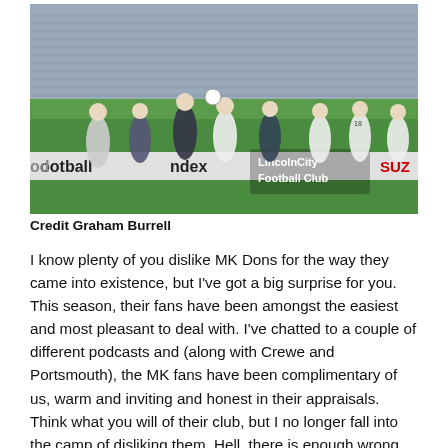[Figure (photo): Football match action photo showing players from two teams competing for the ball on a pitch. Lincoln City Football Club watermark visible. Advertising boards in background including 'football index' and 'SUZ'. Stadium seating visible.]
Credit Graham Burrell
I know plenty of you dislike MK Dons for the way they came into existence, but I've got a big surprise for you. This season, their fans have been amongst the easiest and most pleasant to deal with. I've chatted to a couple of different podcasts and (along with Crewe and Portsmouth), the MK fans have been complimentary of us, warm and inviting and honest in their appraisals. Think what you will of their club, but I no longer fall into the camp of disliking them. Hell, there is enough wrong with football right now to leave the MK thing in the past (this coming from a man who boycotted the best mascot event of